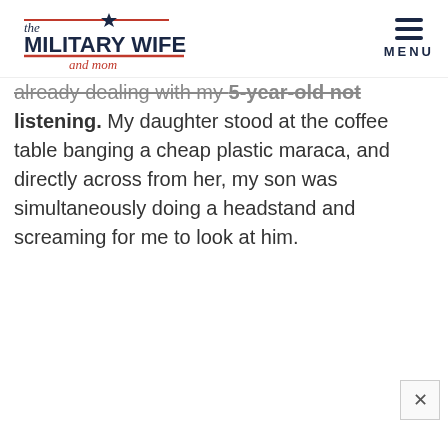the MILITARY WIFE and mom | MENU
already dealing with my 5-year-old not listening. My daughter stood at the coffee table banging a cheap plastic maraca, and directly across from her, my son was simultaneously doing a headstand and screaming for me to look at him.